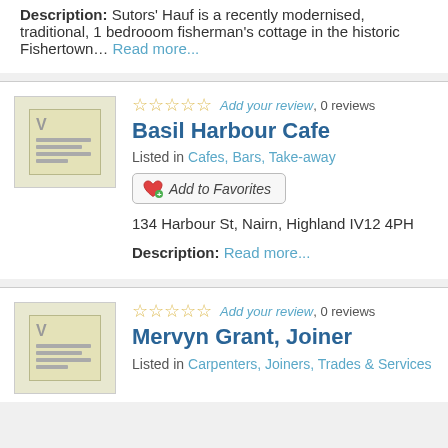Description: Sutors' Hauf is a recently modernised, traditional, 1 bedrooom fisherman's cottage in the historic Fishertown… Read more...
☆☆☆☆☆ Add your review, 0 reviews
Basil Harbour Cafe
Listed in Cafes, Bars, Take-away
Add to Favorites
134 Harbour St, Nairn, Highland IV12 4PH
Description: Read more...
☆☆☆☆☆ Add your review, 0 reviews
Mervyn Grant, Joiner
Listed in Carpenters, Joiners, Trades & Services